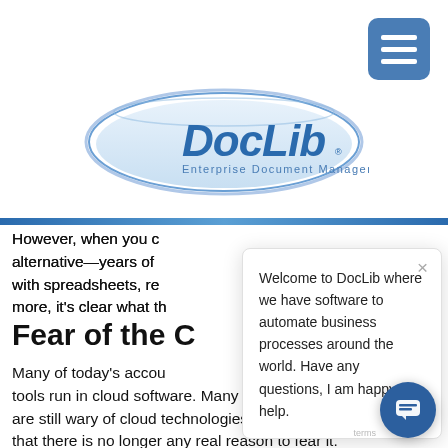[Figure (logo): DocLib Enterprise Document Management logo — blue oval with 'DocLib' in bold blue italic text and 'Enterprise Document Management' tagline below]
However, when you consider the alternative—years of dealing with spreadsheets, re... more, it's clear what th...
Fear of the C...
Many of today's accou... tools run in cloud software. Many businesses today are still wary of cloud technologies despite the fa... that there is no longer any real reason to fear it. There are just as many examples of cloud security...
Welcome to DocLib where we have software to automate business processes around the world. Have any questions, I am happy to help.